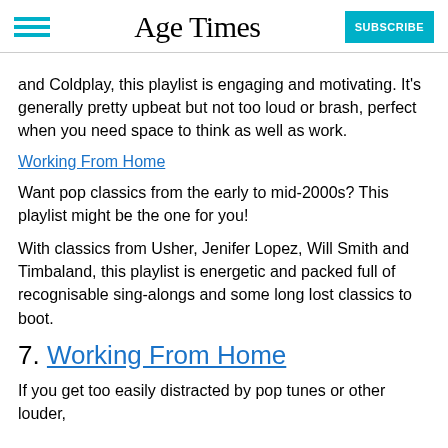Age Times | SUBSCRIBE
and Coldplay, this playlist is engaging and motivating. It’s generally pretty upbeat but not too loud or brash, perfect when you need space to think as well as work.
Working From Home
Want pop classics from the early to mid-2000s? This playlist might be the one for you!
With classics from Usher, Jenifer Lopez, Will Smith and Timbaland, this playlist is energetic and packed full of recognisable sing-alongs and some long lost classics to boot.
7. Working From Home
If you get too easily distracted by pop tunes or other louder,